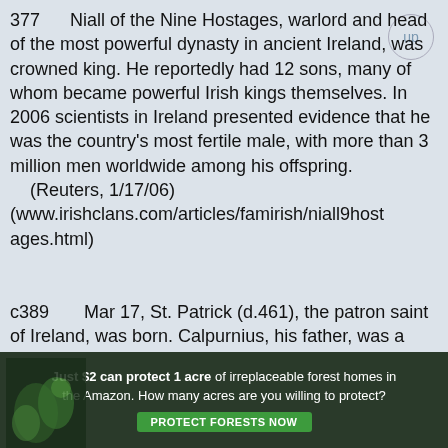377   Niall of the Nine Hostages, warlord and head of the most powerful dynasty in ancient Ireland, was crowned king. He reportedly had 12 sons, many of whom became powerful Irish kings themselves. In 2006 scientists in Ireland presented evidence that he was the country's most fertile male, with more than 3 million men worldwide among his offspring.
    (Reuters, 1/17/06)
(www.irishclans.com/articles/famirish/niall9hostages.html)
c389   Mar 17, St. Patrick (d.461), the patron saint of Ireland, was born. Calpurnius, his father, was a deacon and local official who lost his son to Irish raiders when Patrick was 16. Patrick allegedly drove all the snakes (i.e. pagans) out of Ireland.
    (HN, 3/17/99)(HNQ, 3/17/01)(WSJ, 3/12/04, p.W13)
c389-461AD   St. Patrick, an English
[Figure (other): Advertisement banner: 'Just $2 can protect 1 acre of irreplaceable forest homes in the Amazon. How many acres are you willing to protect?' with a green PROTECT FORESTS NOW button and a leaf/forest image on the left.]